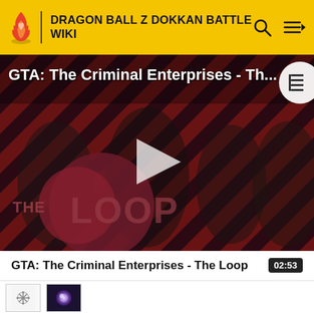DRAGON BALL Z DOKKAN BATTLE WIKI
[Figure (screenshot): Video thumbnail for GTA: The Criminal Enterprises - The Loop, showing four game characters on a red and black diagonal striped background with a play button in the center and 'THE LOOP' logo in the lower left]
GTA: The Criminal Enterprises - The Loop
02:53
[Figure (photo): Small square thumbnail with snowflake or star icon on white background]
[Figure (photo): Small square thumbnail with glowing purple/blue orb icon on dark background]